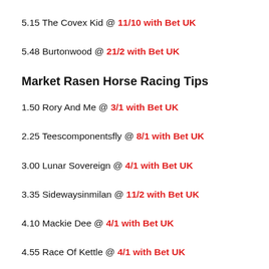5.15 The Covex Kid @ 11/10 with Bet UK
5.48 Burtonwood @ 21/2 with Bet UK
Market Rasen Horse Racing Tips
1.50 Rory And Me @ 3/1 with Bet UK
2.25 Teescomponentsfly @ 8/1 with Bet UK
3.00 Lunar Sovereign @ 4/1 with Bet UK
3.35 Sidewaysinmilan @ 11/2 with Bet UK
4.10 Mackie Dee @ 4/1 with Bet UK
4.55 Race Of Kettle @ 4/1 with Bet UK